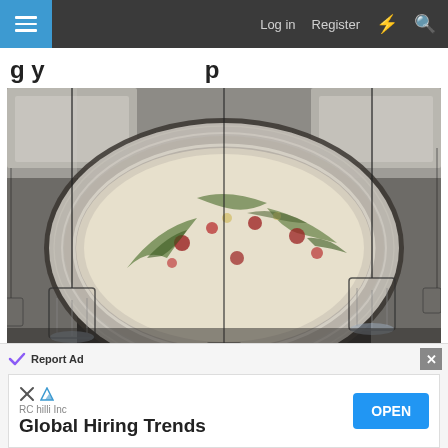Log in  Register
[Figure (photo): Interior ceiling of an ornate room featuring a large oval dome with floral fresco painting, white molded plaster work, coffered ceiling sections, and multiple hanging crystal chandeliers.]
Report Ad
RC hilli Inc
Global Hiring Trends
OPEN